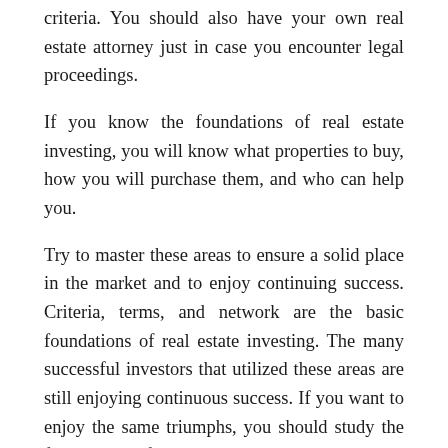criteria. You should also have your own real estate attorney just in case you encounter legal proceedings.
If you know the foundations of real estate investing, you will know what properties to buy, how you will purchase them, and who can help you.
Try to master these areas to ensure a solid place in the market and to enjoy continuing success. Criteria, terms, and network are the basic foundations of real estate investing. The many successful investors that utilized these areas are still enjoying continuous success. If you want to enjoy the same triumphs, you should study the foundations of real estate investing. Be prepared at all times because there are also risks involved.
Application Streams